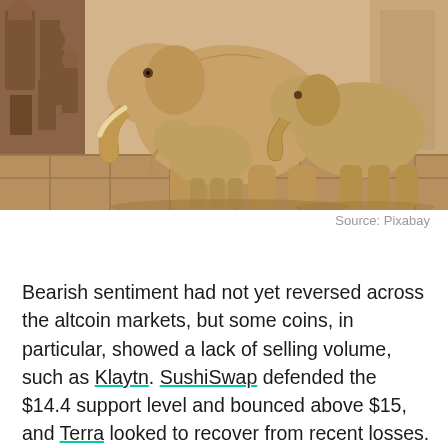[Figure (photo): Stone relief carving showing elephants (a large adult elephant, a smaller adult, and a baby elephant) with detailed ancient Indian temple sculpture in the background, carved in sandstone/tan colored rock.]
Source: Pixabay
Bearish sentiment had not yet reversed across the altcoin markets, but some coins, in particular, showed a lack of selling volume, such as Klaytn. SushiSwap defended the $14.4 support level and bounced above $15, and Terra looked to recover from recent losses.